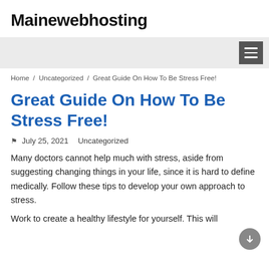Mainewebhosting
Home / Uncategorized / Great Guide On How To Be Stress Free!
Great Guide On How To Be Stress Free!
July 25, 2021   Uncategorized
Many doctors cannot help much with stress, aside from suggesting changing things in your life, since it is hard to define medically. Follow these tips to develop your own approach to stress.
Work to create a healthy lifestyle for yourself. This will